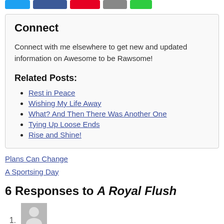[Figure (other): Row of social sharing buttons: Twitter (blue), Facebook (dark blue), Pinterest (red), Email (grey), More (green)]
Connect
Connect with me elsewhere to get new and updated information on Awesome to be Rawsome!
Related Posts:
Rest in Peace
Wishing My Life Away
What? And Then There Was Another One
Tying Up Loose Ends
Rise and Shine!
Plans Can Change
A Sportsing Day
6 Responses to A Royal Flush
[Figure (photo): Avatar placeholder image (grey silhouette) for comment number 1]